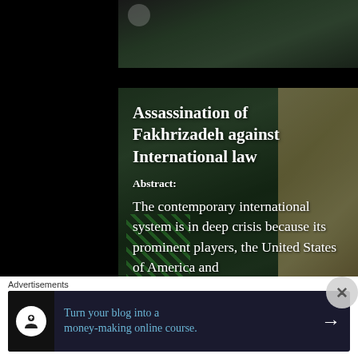[Figure (photo): Top portion of a photo showing a scene with green foliage/decorations, partially visible]
[Figure (photo): Background photo of an indoor scene with green decorations and Arabic/Persian calligraphy text on wall, overlaid with article title and abstract text]
Assassination of Fakhrizadeh against International law
Abstract:
The contemporary international system is in deep crisis because its prominent players, the United States of America and
Advertisements
Turn your blog into a money-making online course.